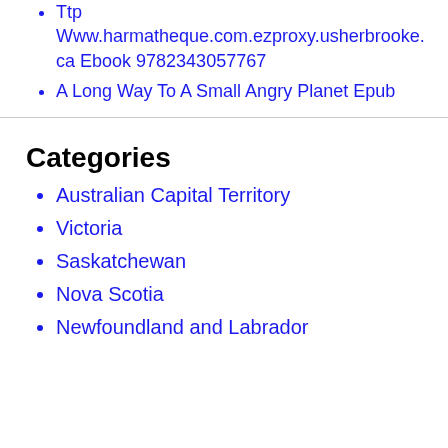Ttp Www.harmatheque.com.ezproxy.usherbrooke.ca Ebook 9782343057767
A Long Way To A Small Angry Planet Epub
Categories
Australian Capital Territory
Victoria
Saskatchewan
Nova Scotia
Newfoundland and Labrador